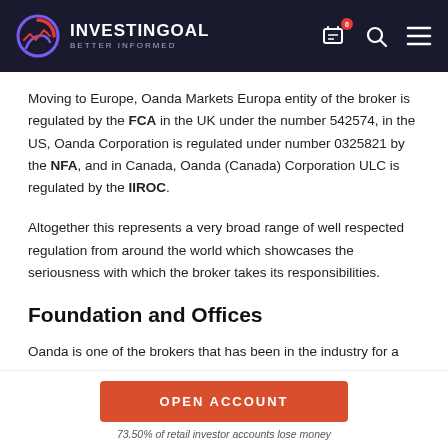INVESTINGOAL BETTER INFORMED
Moving to Europe, Oanda Markets Europa entity of the broker is regulated by the FCA in the UK under the number 542574, in the US, Oanda Corporation is regulated under number 0325821 by the NFA, and in Canada, Oanda (Canada) Corporation ULC is regulated by the IIROC.
Altogether this represents a very broad range of well respected regulation from around the world which showcases the seriousness with which the broker takes its responsibilities.
Foundation and Offices
Oanda is one of the brokers that has been in the industry for a long time. They were founded in 1995 in Delaware, United States.
OPEN ACCOUNT
73.50% of retail investor accounts lose money